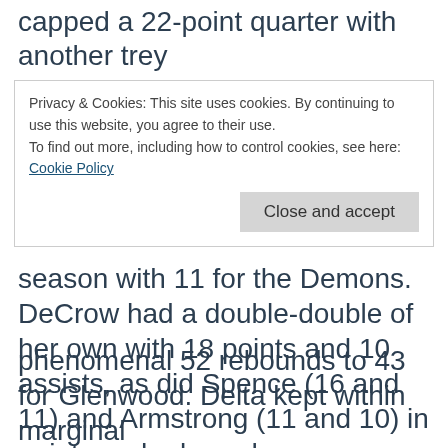capped a 22-point quarter with another trey
Privacy & Cookies: This site uses cookies. By continuing to use this website, you agree to their use.
To find out more, including how to control cookies, see here:
Cookie Policy
Close and accept
season with 11 for the Demons. DeCrow had a double-double of her own with 18 points and 10 assists, as did Spence (16 and 11) and Armstrong (11 and 10) in points and rebounds.
As they did in Delta, the Panthers, with 5-10
phenomenal 52 rebounds to 43 for Glenwood. Delta kept within marginal